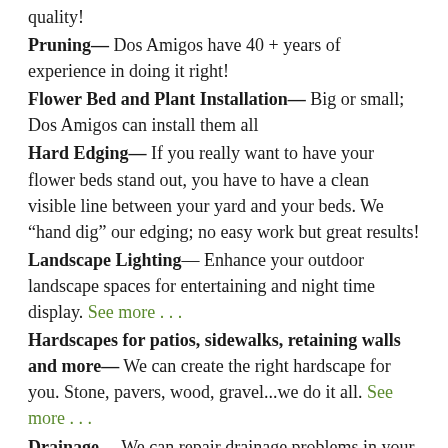quality!
Pruning— Dos Amigos have 40 + years of experience in doing it right!
Flower Bed and Plant Installation— Big or small; Dos Amigos can install them all
Hard Edging— If you really want to have your flower beds stand out, you have to have a clean visible line between your yard and your beds. We “hand dig” our edging; no easy work but great results!
Landscape Lighting— Enhance your outdoor landscape spaces for entertaining and night time display. See more . . .
Hardscapes for patios, sidewalks, retaining walls and more— We can create the right hardscape for you. Stone, pavers, wood, gravel...we do it all. See more . . .
Drainage— We can repair drainage problems in your yard or around your buildings. See more . . .
French Drains— installation to help keep the water away from your home.
Compost, topsoil, fill dirt and gravel installation— Dos